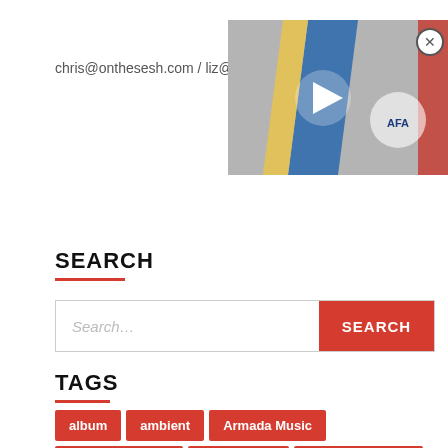chris@onthesesh.com / liz@on...
[Figure (photo): Video thumbnail showing a football jersey with Argentine flag colors and AFA badge, with a play button overlay. A close (X) button is shown in the top-right corner.]
SEARCH
Search...
SEARCH (button)
TAGS
album
ambient
Armada Music
a state of trance
atmosphere
AVA Recordings
Black Hole Recordings
bright
club
dark
dj
emotional
energy
enhanced music
festival
FSOE
groove
interview